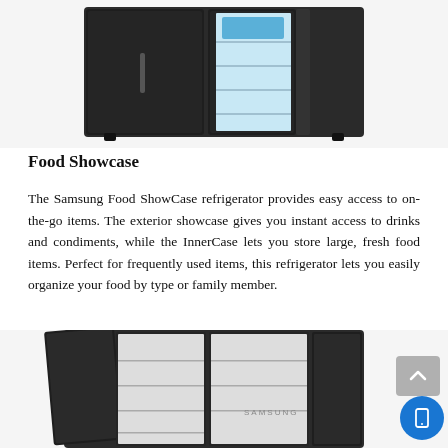[Figure (photo): Top portion of a Samsung Food ShowCase refrigerator with the right door open, showing interior shelves and water dispenser area, dark exterior finish.]
Food Showcase
The Samsung Food ShowCase refrigerator provides easy access to on-the-go items. The exterior showcase gives you instant access to drinks and condiments, while the InnerCase lets you store large, fresh food items. Perfect for frequently used items, this refrigerator lets you easily organize your food by type or family member.
[Figure (photo): Bottom portion of a Samsung Food ShowCase refrigerator with multiple doors open showing interior compartments and the Samsung logo, dark exterior finish.]